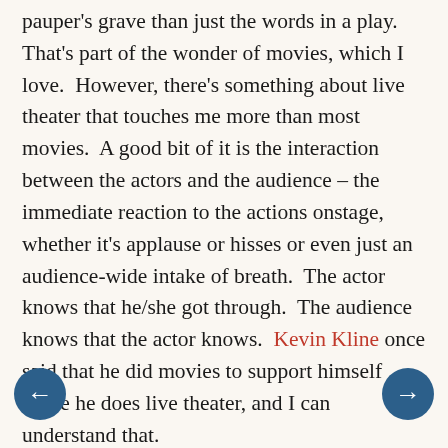pauper's grave than just the words in a play. That's part of the wonder of movies, which I love.  However, there's something about live theater that touches me more than most movies.  A good bit of it is the interaction between the actors and the audience – the immediate reaction to the actions onstage, whether it's applause or hisses or even just an audience-wide intake of breath.  The actor knows that he/she got through.  The audience knows that the actor knows.  Kevin Kline once said that he did movies to support himself while he does live theater, and I can understand that.

Another part of what I love about the theater is the "willing suspension of disbelief."  A Chorus Line is told with almost no props or